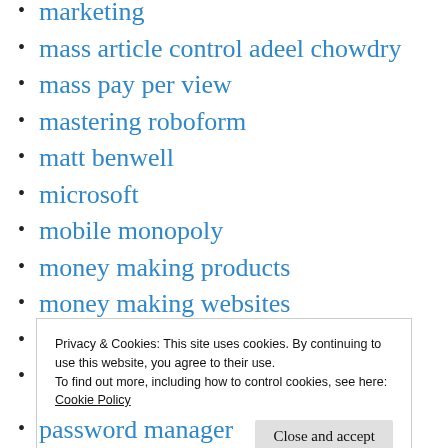marketing
mass article control adeel chowdry
mass pay per view
mastering roboform
matt benwell
microsoft
mobile monopoly
money making products
money making websites
naturally speaking
new indexing
Privacy & Cookies: This site uses cookies. By continuing to use this website, you agree to their use.
To find out more, including how to control cookies, see here:
Cookie Policy
password manager